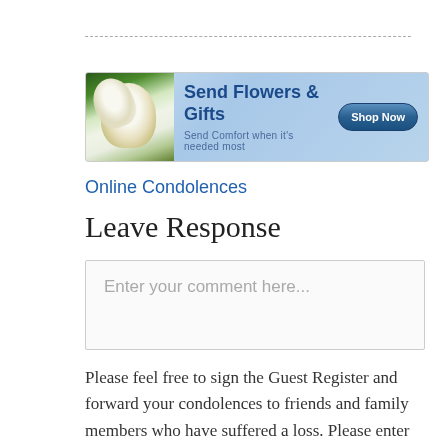[Figure (infographic): Send Flowers & Gifts banner advertisement with flower image on the left, text 'Send Flowers & Gifts' and 'Send Comfort when it's needed most', and a 'Shop Now' button on the right]
Online Condolences
Leave Response
Enter your comment here...
Please feel free to sign the Guest Register and forward your condolences to friends and family members who have suffered a loss. Please enter your words of remembrance in the space provided. You may choose to leave your message online or